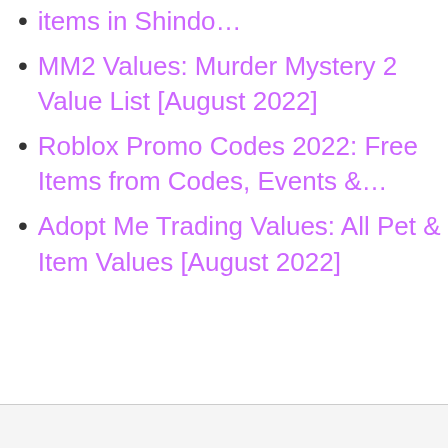items in Shindo…
MM2 Values: Murder Mystery 2 Value List [August 2022]
Roblox Promo Codes 2022: Free Items from Codes, Events &…
Adopt Me Trading Values: All Pet & Item Values [August 2022]